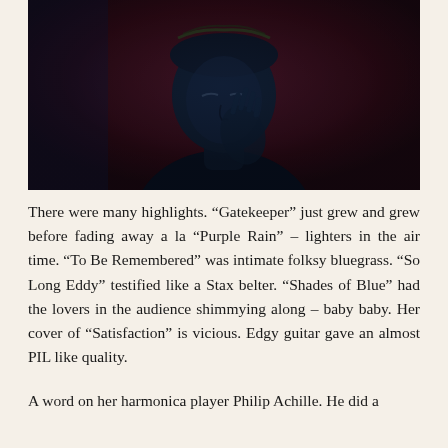[Figure (photo): A dark, moody portrait photo of a person with closed eyes, wearing a chain headpiece, against a deep red background. The subject is dimly lit with blue-tinted shadows.]
There were many highlights. “Gatekeeper” just grew and grew before fading away a la “Purple Rain” – lighters in the air time. “To Be Remembered” was intimate folksy bluegrass. “So Long Eddy” testified like a Stax belter. “Shades of Blue” had the lovers in the audience shimmying along – baby baby. Her cover of “Satisfaction” is vicious. Edgy guitar gave an almost PIL like quality.
A word on her harmonica player Philip Achille. He did a